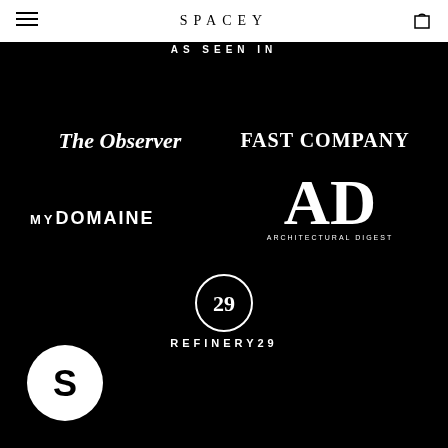SPACEY
AS SEEN IN
[Figure (logo): The Observer logo in white serif font on black background]
[Figure (logo): Fast Company logo in white serif font on black background]
[Figure (logo): MyDomaine logo in white sans-serif font on black background]
[Figure (logo): AD Architectural Digest logo in white serif font on black background]
[Figure (logo): Refinery29 logo with circular badge icon in white on black background]
[Figure (logo): Stylized S logo in a circle, white on black background]